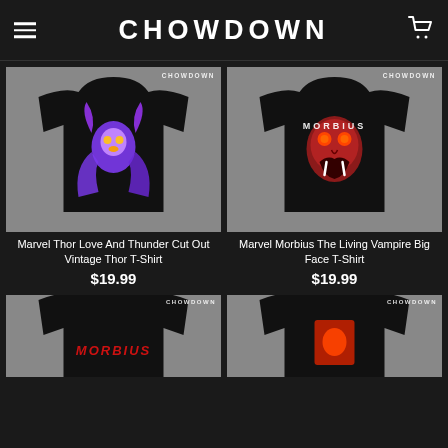CHOWDOWN
[Figure (photo): Black t-shirt with Marvel Thor colorful illustrated graphic, CHOWDOWN badge top right, on grey background]
Marvel Thor Love And Thunder Cut Out Vintage Thor T-Shirt
$19.99
[Figure (photo): Black t-shirt with Morbius vampire face red graphic and MORBIUS text, CHOWDOWN badge top right, on grey background]
Marvel Morbius The Living Vampire Big Face T-Shirt
$19.99
[Figure (photo): Black t-shirt with MORBIUS logo, CHOWDOWN badge top right, on grey background, partial view]
[Figure (photo): Black t-shirt with graphic image, CHOWDOWN badge top right, on grey background, partial view]